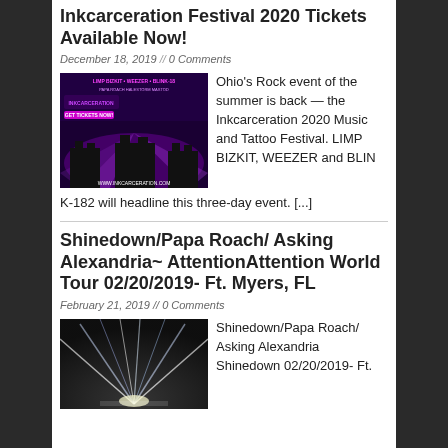Inkcarceration Festival 2020 Tickets Available Now!
December 18, 2019 // 0 Comments
[Figure (photo): Inkcarceration 2020 festival promotional poster with purple stage lighting and lineup including Limp Bizkit, Weezer, Blink-182, Papa Roach, Halestorm, Mastodon. Website: www.inkcarceration.com]
Ohio's Rock event of the summer is back — the Inkcarceration 2020 Music and Tattoo Festival. LIMP BIZKIT, WEEZER and BLINK-182 will headline this three-day event. [...]
Shinedown/Papa Roach/ Asking Alexandria~ AttentionAttention World Tour 02/20/2019- Ft. Myers, FL
February 21, 2019 // 0 Comments
[Figure (photo): Concert stage with dramatic laser beams and lights shooting outward]
Shinedown/Papa Roach/ Asking Alexandria Shinedown 02/20/2019- Ft.